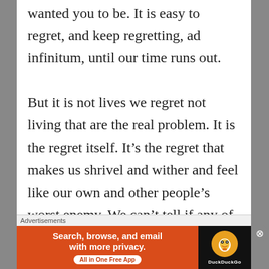wanted you to be. It is easy to regret, and keep regretting, ad infinitum, until our time runs out. But it is not lives we regret not living that are the real problem. It is the regret itself. It's the regret that makes us shrivel and wither and feel like our own and other people's worst enemy. We can't tell if any of those other versions would have been better or worse. Those lives are happening, it is
Advertisements
[Figure (other): DuckDuckGo advertisement banner: orange left side with text 'Search, browse, and email with more privacy. All in One Free App' and dark right side with DuckDuckGo logo and name.]